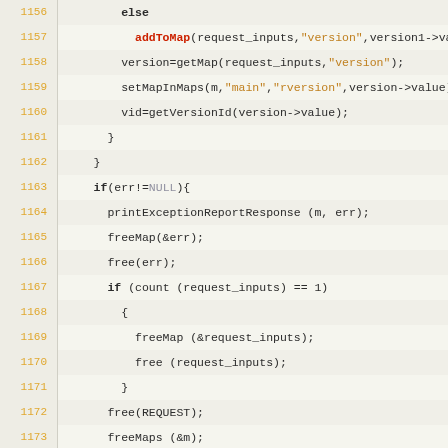[Figure (screenshot): Source code listing showing lines 1156-1182 of a C/C++ program. Lines have orange line numbers on the left. Code includes else block with addToMap, getMap, setMapInMaps, getVersionId calls, error handling with printExceptionReportResponse, freeMap, free, if/return statements, and r_inputs assignment with NULL check.]